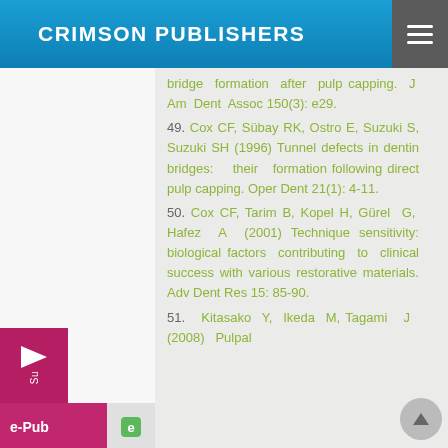CRIMSON PUBLISHERS
bridge formation after pulp capping. J Am Dent Assoc 150(3): e29.
49. Cox CF, Sübay RK, Ostro E, Suzuki S, Suzuki SH (1996) Tunnel defects in dentin bridges: their formation following direct pulp capping. Oper Dent 21(1): 4-11.
50. Cox CF, Tarim B, Kopel H, Gürel G, Hafez A (2001) Technique sensitivity: biological factors contributing to clinical success with various restorative materials. Adv Dent Res 15: 85-90.
51. Kitasako Y, Ikeda M, Tagami J (2008) Pulpal...